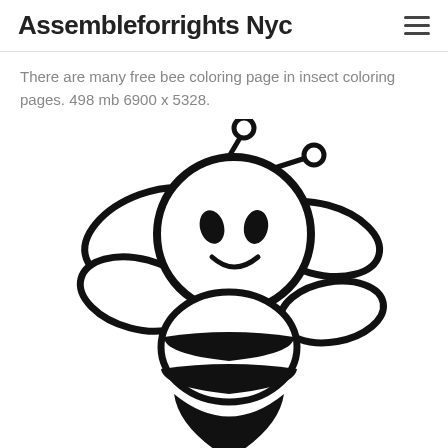Assembleforrights Nyc
There are many free bee coloring page in insect coloring pages. 498 mb 6900 x 5328.
[Figure (illustration): Black and white cartoon bee coloring page illustration showing a cute smiling bee with round head, two antennae with circles at tips, large round body, wings, and striped abdomen.]